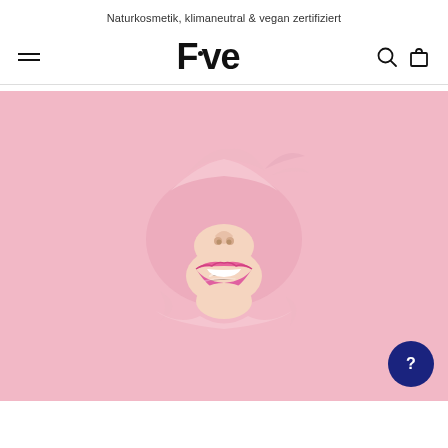Naturkosmetik, klimaneutral & vegan zertifiziert
F•ve
[Figure (photo): E-commerce website screenshot showing a woman's face breaking through pink paper, with pink glossy lips and a torn hole effect. The site is for 'Five', a natural cosmetics brand.]